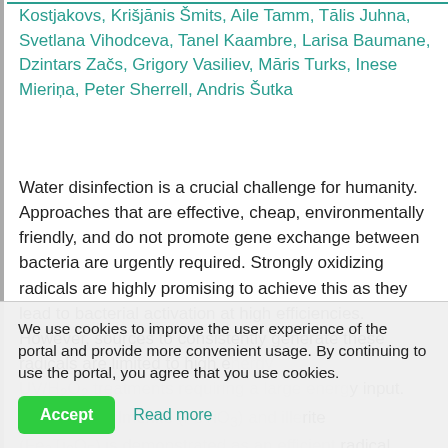Kostjakovs, Krišjānis Šmits, Aile Tamm, Tālis Juhna, Svetlana Vihodceva, Tanel Kaambre, Larisa Baumane, Dzintars Začs, Grigory Vasiliev, Māris Turks, Inese Mieriņa, Peter Sherrell, Andris Šutka
Water disinfection is a crucial challenge for humanity. Approaches that are effective, cheap, environmentally friendly, and do not promote gene exchange between bacteria are urgently required. Strongly oxidizing radicals are highly promising to achieve this as they lead to bacterial activation at high efficiencies. However, sources to consistently generate these radicals are limited to high energy UV/H2O2 treatments requiring a large energy input. In this work, ilmenite (FeTiO3) and illerite (Fe2Ti2O5) is demonstrated as an efficient radical generation material under dark conditions, showing a seven order of magnitude decrease in bacterial concentration over 10 min. This decrease is
We use cookies to improve the user experience of the portal and provide more convenient usage. By continuing to use the portal, you agree that you use cookies.